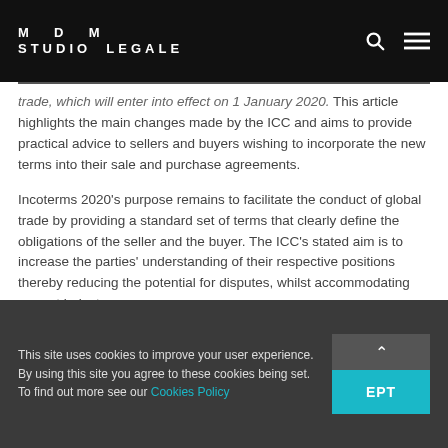MDM STUDIO LEGALE
trade, which will enter into effect on 1 January 2020. This article highlights the main changes made by the ICC and aims to provide practical advice to sellers and buyers wishing to incorporate the new terms into their sale and purchase agreements.
Incoterms 2020's purpose remains to facilitate the conduct of global trade by providing a standard set of terms that clearly define the obligations of the seller and the buyer. The ICC's stated aim is to increase the parties' understanding of their respective positions thereby reducing the potential for disputes, whilst accommodating current industry concerns.
This site uses cookies to improve your user experience. By using this site you agree to these cookies being set. To find out more see our Cookies Policy